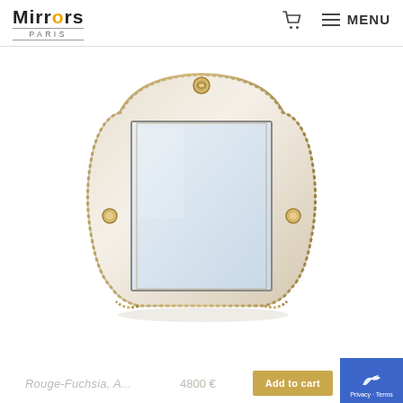Mirrors Paris — MENU
[Figure (photo): An ornate cream/ivory colored decorative mirror with curved baroque-style frame featuring gold trim details, rectangular mirror glass, photographed against a white background.]
Rouge-Fuchsia, A...   4800 €   Add to cart